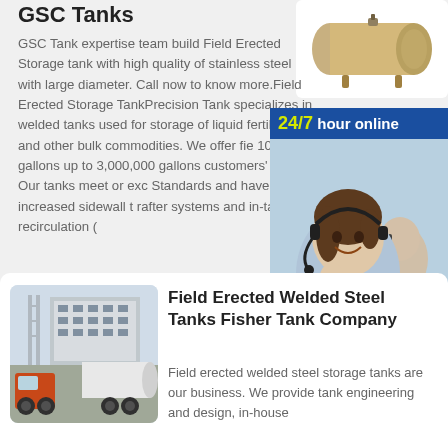GSC Tanks
[Figure (photo): A horizontal cylindrical storage tank, beige/tan colored, with legs, on white background]
GSC Tank expertise team build Field Erected Storage tank with high quality of stainless steel with large diameter. Call now to know more.Field Erected Storage TankPrecision Tank specializes in welded tanks used for storage of liquid fertilizer, and other bulk commodities. We offer fie 100,000 gallons up to 3,000,000 gallons customers' needs. Our tanks meet or exc Standards and have increased sidewall t rafter systems and in-tank recirculation (
[Figure (photo): 24/7 hour online banner with blue background and yellow/white text, agent photo (woman with headset smiling, man in background), dots row, and Click to chat button]
[Figure (photo): A white tank truck parked next to a building, industrial setting]
Field Erected Welded Steel Tanks Fisher Tank Company
Field erected welded steel storage tanks are our business. We provide tank engineering and design, in-house